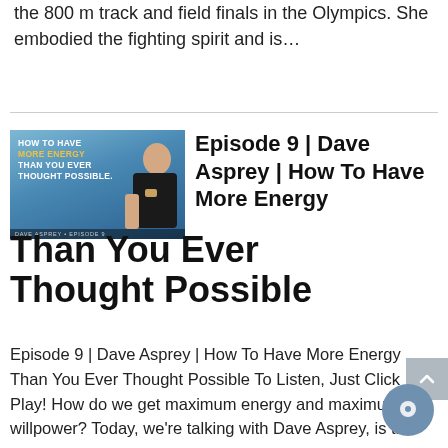the 800 m track and field finals in the Olympics. She embodied the fighting spirit and is…
[Figure (photo): Thumbnail image for Episode 9 with Dave Asprey holding a cup, text overlay reading 'HOW TO HAVE MORE ENERGY THAN YOU EVER THOUGHT POSSIBLE' and 'DAVE ASPREY • EPISODE 9']
Episode 9 | Dave Asprey | How To Have More Energy Than You Ever Thought Possible
Episode 9 | Dave Asprey | How To Have More Energy Than You Ever Thought Possible To Listen, Just Click Play! How do we get maximum energy and maximum willpower? Today, we're talking with Dave Asprey, is the